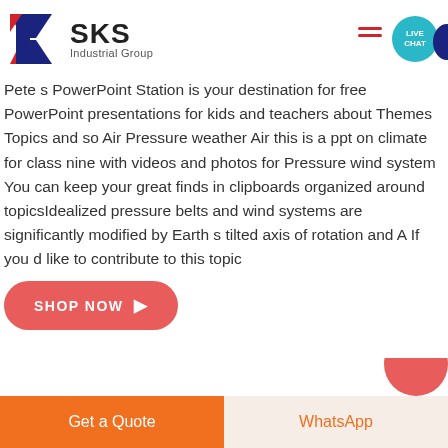[Figure (logo): SKS Industrial Group logo with K letter mark in red and blue, and hamburger menu icon and live chat bubble on right]
Pete s PowerPoint Station is your destination for free PowerPoint presentations for kids and teachers about Themes Topics and so Air Pressure weather Air this is a ppt on climate for class nine with videos and photos for Pressure wind system You can keep your great finds in clipboards organized around topicsIdealized pressure belts and wind systems are significantly modified by Earth s tilted axis of rotation and A If you d like to contribute to this topic
[Figure (other): SHOP NOW button in red rounded rectangle with arrow]
Get a Quote   WhatsApp